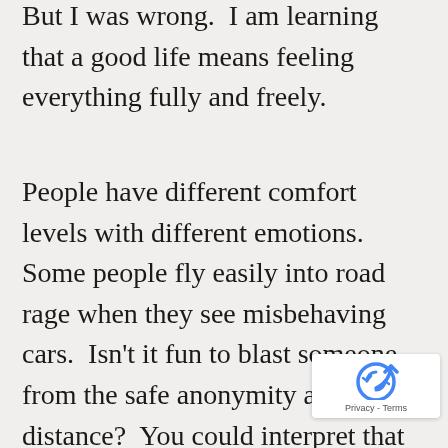But I was wrong.  I am learning that a good life means feeling everything fully and freely.
People have different comfort levels with different emotions.  Some people fly easily into road rage when they see misbehaving cars.  Isn't it fun to blast someone from the safe anonymity and distance?  You could interpret that as cowardry, to get mad and judgmental only when you are safe, and I agree with that.  But my point is not about whether it's
[Figure (logo): reCAPTCHA logo with Privacy and Terms text]